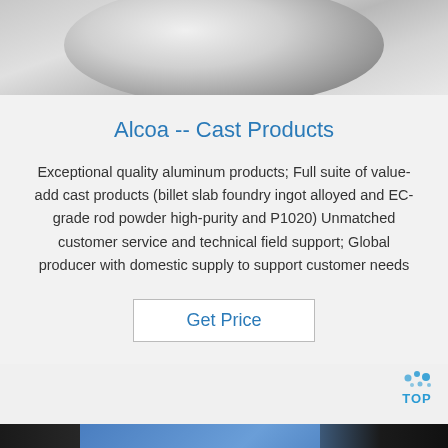[Figure (photo): Close-up photo of a polished aluminum disc or billet, showing metallic sheen and circular shape, top portion cut off]
Alcoa -- Cast Products
Exceptional quality aluminum products; Full suite of value-add cast products (billet slab foundry ingot alloyed and EC-grade rod powder high-purity and P1020) Unmatched customer service and technical field support; Global producer with domestic supply to support customer needs
Get Price
[Figure (logo): TOP watermark logo with blue water drop dots above the letters T-O-P in blue]
[Figure (photo): Partial photo at bottom showing dark metallic/industrial object with blue panel visible]